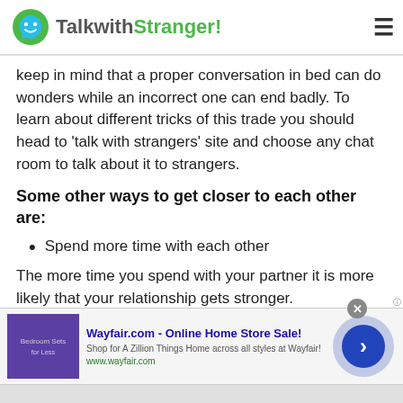TalkwithStranger!
keep in mind that a proper conversation in bed can do wonders while an incorrect one can end badly. To learn about different tricks of this trade you should head to 'talk with strangers' site and choose any chat room to talk about it to strangers.
Some other ways to get closer to each other are:
Spend more time with each other
The more time you spend with your partner it is more likely that your relationship gets stronger.
[Figure (screenshot): Wayfair.com advertisement banner with close button, ad image showing bedroom furniture on purple background, ad title 'Wayfair.com - Online Home Store Sale!', description text, URL www.wayfair.com, and a blue circular arrow button]